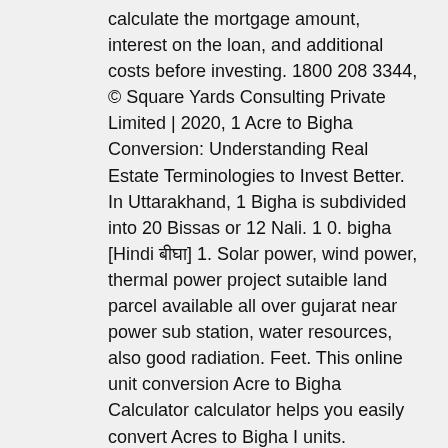calculate the mortgage amount, interest on the loan, and additional costs before investing. 1800 208 3344, © Square Yards Consulting Private Limited | 2020, 1 Acre to Bigha Conversion: Understanding Real Estate Terminologies to Invest Better. In Uttarakhand, 1 Bigha is subdivided into 20 Bissas or 12 Nali. 1 0. bigha [Hindi बीघा] 1. Solar power, wind power, thermal power project sutaible land parcel available all over gujarat near power sub station, water resources, also good radiation. Feet. This online unit conversion Acre to Bigha Calculator calculator helps you easily convert Acres to Bigha I units. Demography is the structure of a population, segmented according to gender, race, age, income, population growth, and migration. Average price per square meter, rents, apartment price to income ratio, mortgage affordability and other relevant economic indicators improtant to look at when considering to invest in Gujarat, India. 444 Lands in Gujarat from ₹ 17.1 lakhs. 2019-08-30T12:09:02+00:00Updated on 2019-08-30 2019-08-